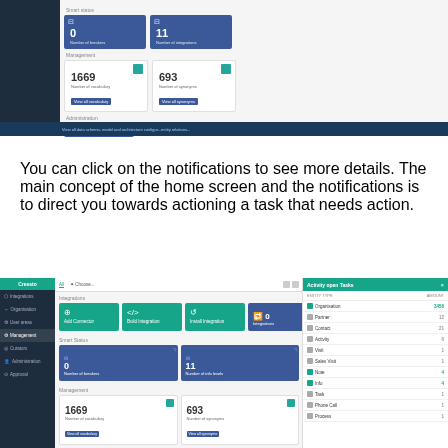[Figure (screenshot): Screenshot of a dashboard UI showing notification cards with values 0 (Number of breakers) and 11 (Number of integrations) in blue, and 1669 (Number of vocabulary) and 693 (Number of synonyms) in white with teal icons, plus a dark blue bottom bar.]
You can click on the notifications to see more details. The main concept of the home screen and the notifications is to direct you towards actioning a task that needs action.
[Figure (screenshot): Screenshot of a full dashboard UI with dark sidebar navigation showing items like Integrations, Organisation, User areas, Management, Curators, Administration, Approval. Main area shows integration cards: Add Connector (teal), Build Integration (teal), Install Integration (teal), 0 Integrations (blue). Below: Smart Status section with 0 (Number of breakers, blue) and 11 (Number of info levels, blue). Management section with 1669 (Number of vocabulary) and 693 (Number of synonyms) in white cards. Right panel shows 'Activity open Tasks' list with Organisation, Partner, Contact, Activity, Visit, Sales Visit, Note, Info, Task, Phone Call, Process rows with numeric values.]